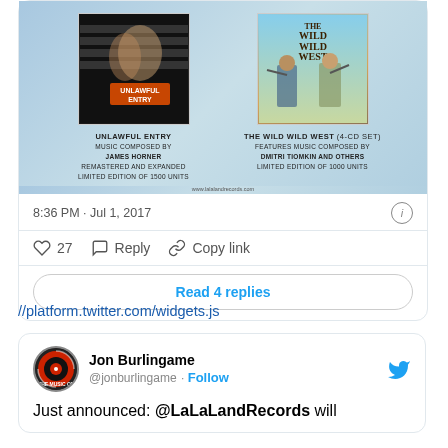[Figure (screenshot): Tweet card showing two album covers: Unlawful Entry (music composed by James Horner, remastered and expanded, limited edition of 1500 units) and The Wild Wild West 4-CD Set (features music composed by Dmitri Tiomkin and others, limited edition of 1000 units) on a light blue bubble background. Timestamp: 8:36 PM · Jul 1, 2017. Actions: 27 likes, Reply, Copy link. Read 4 replies button.]
//platform.twitter.com/widgets.js
[Figure (screenshot): Tweet card for Jon Burlingame (@jonburlingame) with Twitter bird icon and Follow button. Text starts: Just announced: @LaLaLandRecords will]